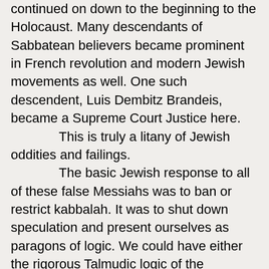continued on down to the beginning to the Holocaust. Many descendants of Sabbatean believers became prominent in French revolution and modern Jewish movements as well. One such descendent, Luis Dembitz Brandeis, became a Supreme Court Justice here.
	This is truly a litany of Jewish oddities and failings.
	The basic Jewish response to all of these false Messiahs was to ban or restrict kabbalah. It was to shut down speculation and present ourselves as paragons of logic. We could have either the rigorous Talmudic logic of the Lithuanian Jews, or the logic of enlightened Jews of the modern Reform, Conservative and Orthodox schools. Chasidism was in some ways an approach to water down mystical speculation for the poorer Jews of Poland and Ukraine.		For some Jews,  the fervor  of Messianism was transferred to the political realm, as early as the French revolution. For many Jews, the hopes of Communism drew them as did the earlier Messiahs. The Zionist revolution as well, for sure drew upon the inspiration of a reborn people promised by the Prophets.